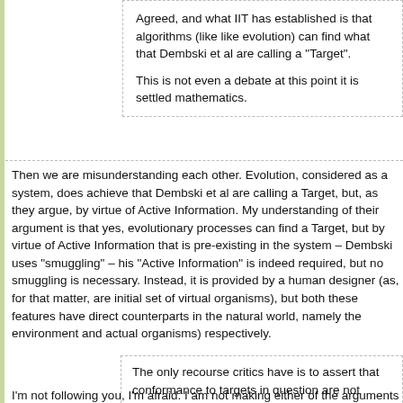Agreed, and what IIT has established is that algorithms (like like evo... that Dembski et al are calling a "Target".
This is not even a debate at this point it is settled mathematics.
Then we are misunderstanding each other. Evolution, considered as a syste... that Dembski et al are calling a Target, but, as they argue, by virtue of Active... My understanding of their argument is that yes, evolutionary processes can ... by virtue of Active Information that is pre-existing in the system – Dembski u... his "Active Information" is indeed required, but no smuggling is necessary. In... by a human designer (as, for that matter, are initial set of virtual organism... features have direct counterparts in the natural world, namely the environm... organisms) respectively.
The only recourse critics have is to assert that conformance to targe... in question are not integrated information Predictability that is just the...
We have seen the same thing with materialists claiming that the... consciousness in not non-lossy thus denying unitary consciousness.
I expect that that is the way that the debate will play-out in the future a...
I'm not following you, I'm afraid. I am not making either of the arguments you...